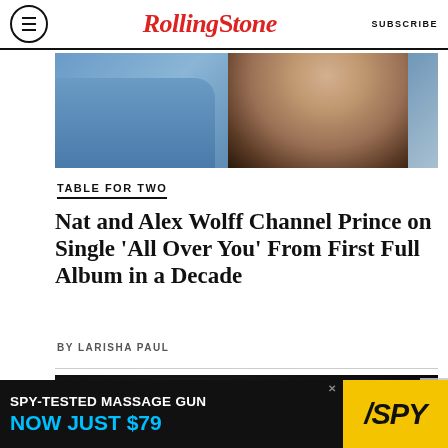Rolling Stone | SUBSCRIBE
[Figure (photo): Close-up photo of a man wearing a blue denim shirt, cropped at chin level showing stubble and lips]
TABLE FOR TWO
Nat and Alex Wolff Channel Prince on Single ‘All Over You’ From First Full Album in a Decade
BY LARISHA PAUL
[Figure (photo): Black and white photo of musicians performing on stage with microphones]
[Figure (advertisement): Advertisement banner: SPY-TESTED MASSAGE GUN NOW JUST $79 with SPY logo on yellow background]